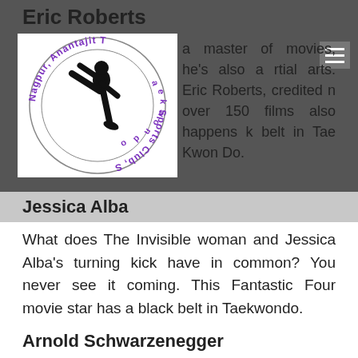Eric Roberts
[Figure (logo): Nagpur Anantajit Taekwondo Sports Club circular logo with a martial artist silhouette in the center]
a master of movies, he's also a rtial arts. Eric Roberts, credited n over 150 films also happens k belt in Tae Kwon Do.
Jessica Alba
What does The Invisible woman and Jessica Alba's turning kick have in common? You never see it coming. This Fantastic Four movie star has a black belt in Taekwondo.
Arnold Schwarzenegger
Movie legend and former Governor of California Arnold Schwarzenegger has a first degree black belt in Tae Kwon Do.
Ajay Devgan
Black belt in Taekwondo.